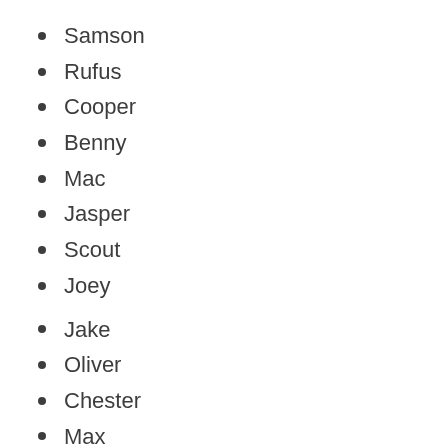Samson
Rufus
Cooper
Benny
Mac
Jasper
Scout
Joey
Jake
Oliver
Chester
Max
Tank
Chance
Milo